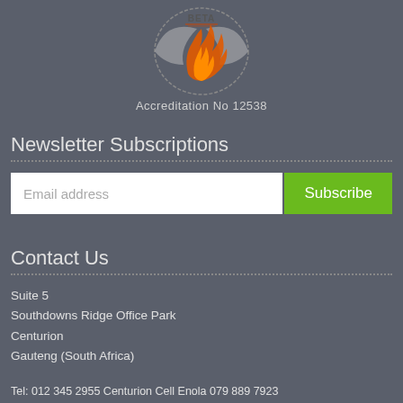[Figure (logo): BETA organization logo with orange flame/hand motif and circular design]
Accreditation No 12538
Newsletter Subscriptions
Email address  Subscribe
Contact Us
Suite 5
Southdowns Ridge Office Park
Centurion
Gauteng (South Africa)
Tel: 012 345 2955 Centurion Cell Enola 079 889 7923